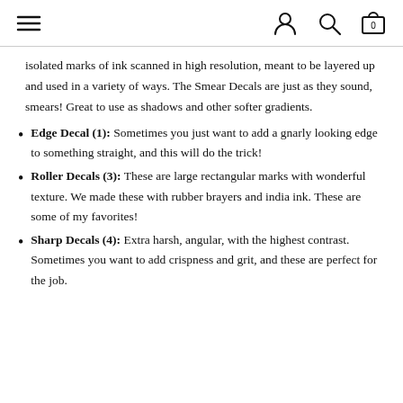Navigation bar with menu, user, search, and cart icons
isolated marks of ink scanned in high resolution, meant to be layered up and used in a variety of ways. The Smear Decals are just as they sound, smears! Great to use as shadows and other softer gradients.
Edge Decal (1): Sometimes you just want to add a gnarly looking edge to something straight, and this will do the trick!
Roller Decals (3): These are large rectangular marks with wonderful texture. We made these with rubber brayers and india ink. These are some of my favorites!
Sharp Decals (4): Extra harsh, angular, with the highest contrast. Sometimes you want to add crispness and grit, and these are perfect for the job.